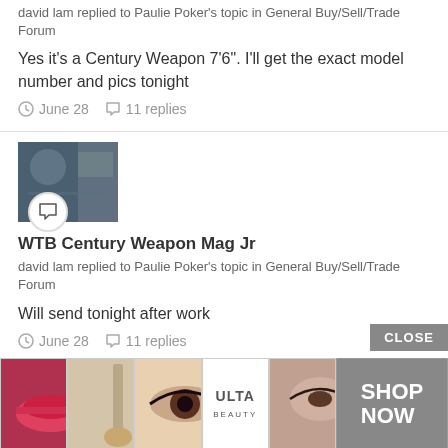david lam replied to Paulie Poker's topic in General Buy/Sell/Trade Forum
Yes it's a Century Weapon 7'6". I'll get the exact model number and pics tonight
June 28   11 replies
[Figure (photo): Thumbnail image with speech bubble overlay icon]
WTB Century Weapon Mag Jr
david lam replied to Paulie Poker's topic in General Buy/Sell/Trade Forum
Will send tonight after work
June 28   11 replies
[Figure (photo): Thumbnail image with speech bubble overlay icon]
WTB
david
[Figure (infographic): Advertisement banner with beauty/makeup images, Ulta logo, and SHOP NOW button with CLOSE button]